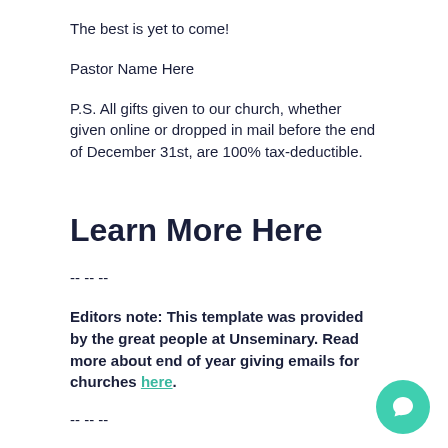The best is yet to come!
Pastor Name Here
P.S. All gifts given to our church, whether given online or dropped in mail before the end of December 31st, are 100% tax-deductible.
Learn More Here
-- -- --
Editors note: This template was provided by the great people at Unseminary. Read more about end of year giving emails for churches here.
-- -- --